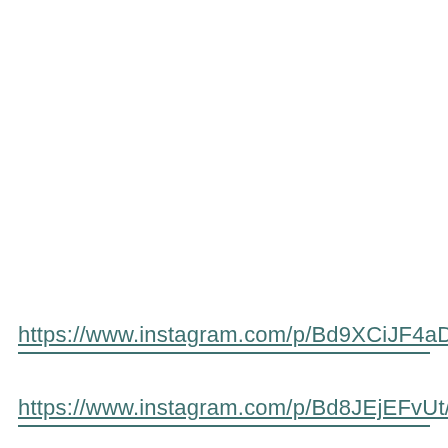https://www.instagram.com/p/Bd9XCiJF4aD/
https://www.instagram.com/p/Bd8JEjEFvUt/